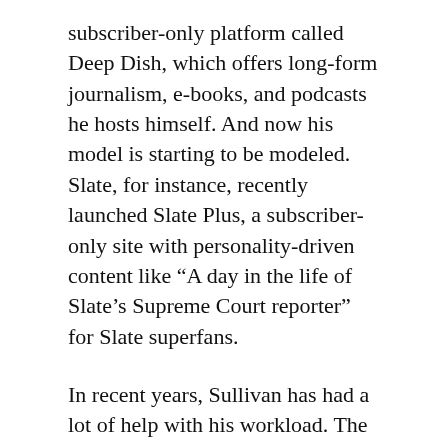subscriber-only platform called Deep Dish, which offers long-form journalism, e-books, and podcasts he hosts himself. And now his model is starting to be modeled. Slate, for instance, recently launched Slate Plus, a subscriber-only site with personality-driven content like “A day in the life of Slate’s Supreme Court reporter” for Slate superfans.
In recent years, Sullivan has had a lot of help with his workload. The Dish has a full-time, paid staff of ten, including interns. “Before I came on, every post was by Andrew,” says Appel, an executive editor. “I remember when I first